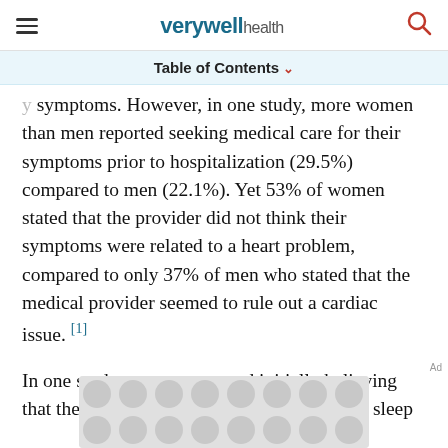verywell health
Table of Contents
symptoms. However, in one study, more women than men reported seeking medical care for their symptoms prior to hospitalization (29.5%) compared to men (22.1%). Yet 53% of women stated that the provider did not think their symptoms were related to a heart problem, compared to only 37% of men who stated that the medical provider seemed to rule out a cardiac issue. [1]
In one study, women reported initially believing that their heart attack symptoms were due to sleep